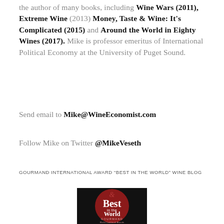the author of many books, including Wine Wars (2011), Extreme Wine (2013) Money, Taste & Wine: It's Complicated (2015) and Around the World in Eighty Wines (2017). Mike is professor emeritus of International Political Economy at the University of Puget Sound.
Send email to Mike@WineEconomist.com
Follow Mike on Twitter @MikeVeseth
GOURMAND INTERNATIONAL AWARD “BEST IN THE WORLD” WINE BLOG
[Figure (logo): Gourmand World Cookbook Awards badge showing 'Best in the World' text on a dark red circular background with GOURMAND text at the bottom]